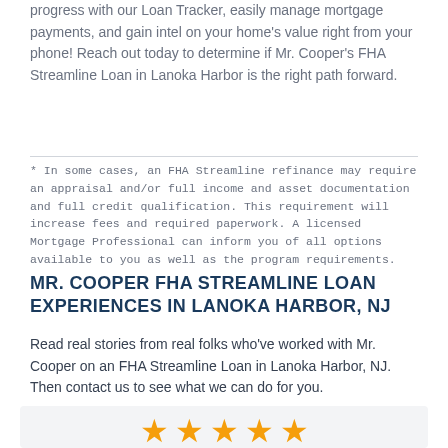progress with our Loan Tracker, easily manage mortgage payments, and gain intel on your home's value right from your phone! Reach out today to determine if Mr. Cooper's FHA Streamline Loan in Lanoka Harbor is the right path forward.
* In some cases, an FHA Streamline refinance may require an appraisal and/or full income and asset documentation and full credit qualification. This requirement will increase fees and required paperwork. A licensed Mortgage Professional can inform you of all options available to you as well as the program requirements.
MR. COOPER FHA STREAMLINE LOAN EXPERIENCES IN LANOKA HARBOR, NJ
Read real stories from real folks who've worked with Mr. Cooper on an FHA Streamline Loan in Lanoka Harbor, NJ. Then contact us to see what we can do for you.
[Figure (other): Five orange star rating icons displayed in a light gray review box]